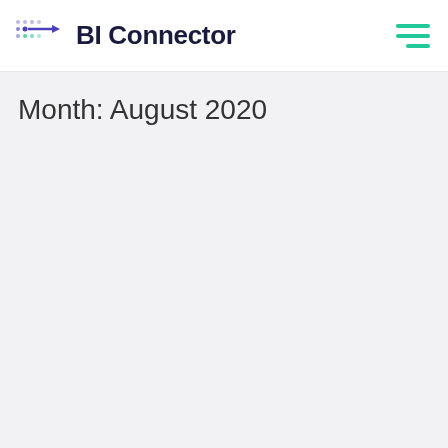BI Connector
Month: August 2020